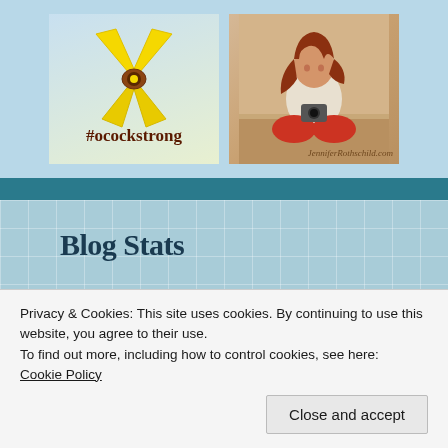[Figure (photo): Yellow awareness ribbon with #ocockstrong text below it on a light blue background]
[Figure (photo): Young woman with red hair sitting cross-legged, wearing white top and red pants, with JenniferRothschild.com watermark]
Blog Stats
10,912 hits
Privacy & Cookies: This site uses cookies. By continuing to use this website, you agree to their use.
To find out more, including how to control cookies, see here:
Cookie Policy
Close and accept